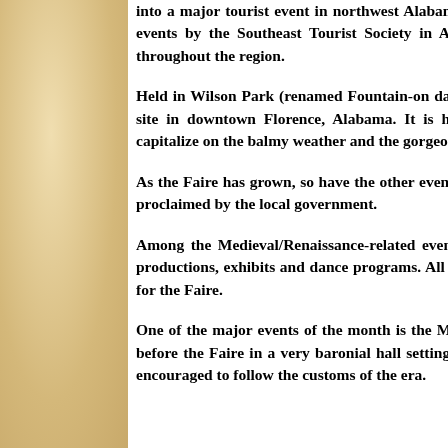into a major tourist event in northwest Alabama. For several years it has been named one of the top 20 events by the Southeast Tourist Society in Atlanta, giving it access to more than 800 media outlets throughout the region.
Held in Wilson Park (renamed Fountain-on-the-Green for the days of the Faire), this unusual event draws over 150,000 each year to its site in downtown Florence, Alabama. It is held on the fourth Saturday and Sunday in October to capitalize on the balmy weather and the gorgeous fall foliage.
As the Faire has grown, so have the other events offered during Renaissance Month as October has been proclaimed by the local government.
Among the Medieval/Renaissance-related events offered are musical programs, public lectures, drama productions, exhibits and dance programs. All of these are free of charge and they set the stage perfectly for the Faire.
One of the major events of the month is the Medieval/Renaissance Feast. It is held on Saturday evening before the Faire in a very baronial hall setting with entertainment of the period. People who attend are encouraged to follow the customs of the era.